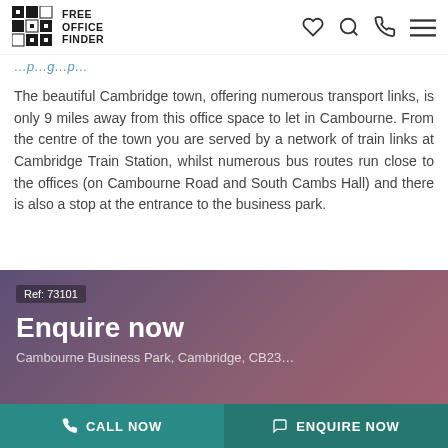FREE OFFICE FINDER
The beautiful Cambridge town, offering numerous transport links, is only 9 miles away from this office space to let in Cambourne. From the centre of the town you are served by a network of train links at Cambridge Train Station, whilst numerous bus routes run close to the offices (on Cambourne Road and South Cambs Hall) and there is also a stop at the entrance to the business park.
Ref: 73101
Enquire now